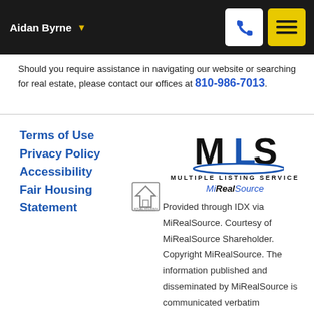Aidan Byrne
Should you require assistance in navigating our website or searching for real estate, please contact our offices at 810-986-7013.
Terms of Use
Privacy Policy
Accessibility
Fair Housing Statement
[Figure (logo): MLS Multiple Listing Service MiRealSource logo]
Provided through IDX via MiRealSource. Courtesy of MiRealSource Shareholder. Copyright MiRealSource. The information published and disseminated by MiRealSource is communicated verbatim